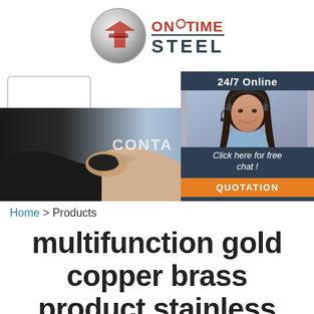[Figure (logo): OnTime Steel logo with silver circular emblem and red/dark text]
[Figure (infographic): Hamburger menu button (three horizontal lines) in a rounded rectangle]
[Figure (infographic): 24/7 Online chat widget with a woman wearing a headset, 'Click here for free chat!' text and orange QUOTATION button]
[Figure (photo): Two people shaking hands in business attire with blurred background and partial text 'CONTA']
Home > Products
multifunction gold copper brass product stainless